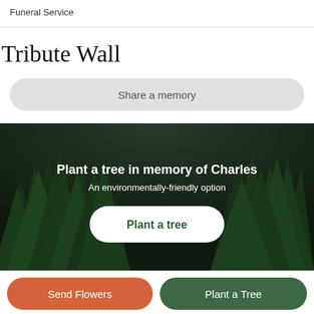Funeral Service
Tribute Wall
Share a memory
[Figure (photo): Aerial view of dense green forest/trees used as background for tree planting promotion]
Plant a tree in memory of Charles
An environmentally-friendly option
Plant a tree
Send Flowers
Plant a Tree